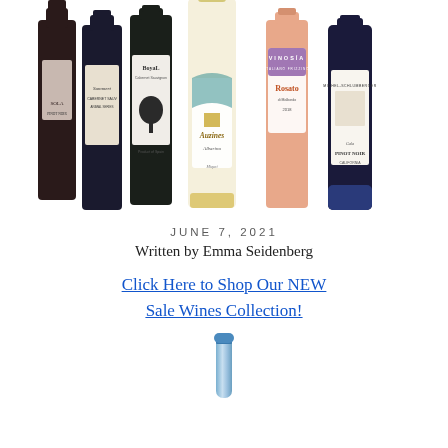[Figure (photo): Group of wine bottles arranged together including labels: Sola, Summerton Cabernet Sauvignon, BoyaL Cabernet Sauvignon, Auzines Albarino (tall white wine bottle in center), Vinosia Rosato 2018, Michel-Schlumberger Pinot Noir]
JUNE 7, 2021
Written by Emma Seidenberg
Click Here to Shop Our NEW Sale Wines Collection!
[Figure (photo): Partial view of a blue wine bottle, showing just the top neck portion against a white background]